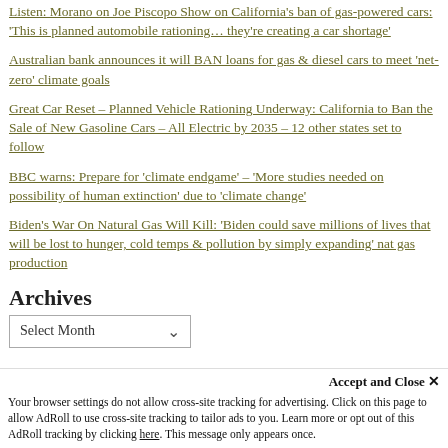Listen: Morano on Joe Piscopo Show on California's ban of gas-powered cars: 'This is planned automobile rationing… they're creating a car shortage'
Australian bank announces it will BAN loans for gas & diesel cars to meet 'net-zero' climate goals
Great Car Reset – Planned Vehicle Rationing Underway: California to Ban the Sale of New Gasoline Cars – All Electric by 2035 – 12 other states set to follow
BBC warns: Prepare for 'climate endgame' – 'More studies needed on possibility of human extinction' due to 'climate change'
Biden's War On Natural Gas Will Kill: 'Biden could save millions of lives that will be lost to hunger, cold temps & pollution by simply expanding' nat gas production
Archives
Select Month
Accept and Close ✕
Your browser settings do not allow cross-site tracking for advertising. Click on this page to allow AdRoll to use cross-site tracking to tailor ads to you. Learn more or opt out of this AdRoll tracking by clicking here. This message only appears once.